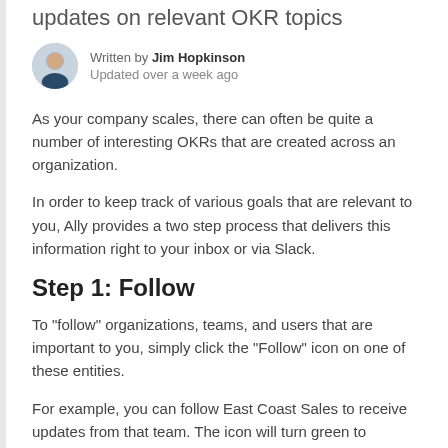updates on relevant OKR topics
Written by Jim Hopkinson
Updated over a week ago
As your company scales, there can often be quite a number of interesting OKRs that are created across an organization.
In order to keep track of various goals that are relevant to you, Ally provides a two step process that delivers this information right to your inbox or via Slack.
Step 1: Follow
To "follow" organizations, teams, and users that are important to you, simply click the "Follow" icon on one of these entities.
For example, you can follow East Coast Sales to receive updates from that team. The icon will turn green to